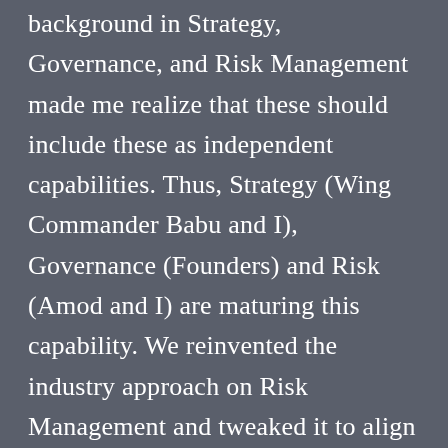background in Strategy, Governance, and Risk Management made me realize that these should include these as independent capabilities. Thus, Strategy (Wing Commander Babu and I), Governance (Founders) and Risk (Amod and I) are maturing this capability. We reinvented the industry approach on Risk Management and tweaked it to align with Covid and Medical care. Concurrently, as capabilities were sprawling, we realized a common framework should encapsulate the entire initiative. Thus, we initiated program management (with a CMMI/ISO) capability to standardize for all the capabilities. Manish Singhal has taken the onus to develop this nascent capability.